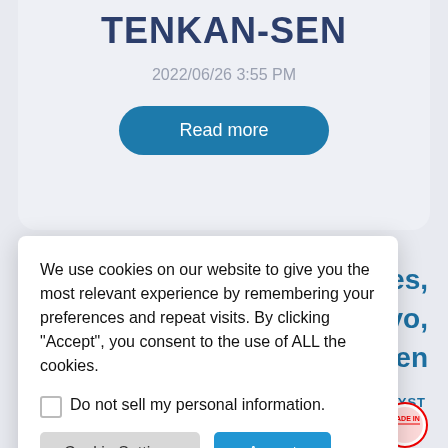TENKAN-SEN
2022/06/26 3:55 PM
Read more
ures, ukinkohyo, enkansen
NALYST
We use cookies on our website to give you the most relevant experience by remembering your preferences and repeat visits. By clicking “Accept”, you consent to the use of ALL the cookies.
Do not sell my personal information.
Cookie Settings
Accept